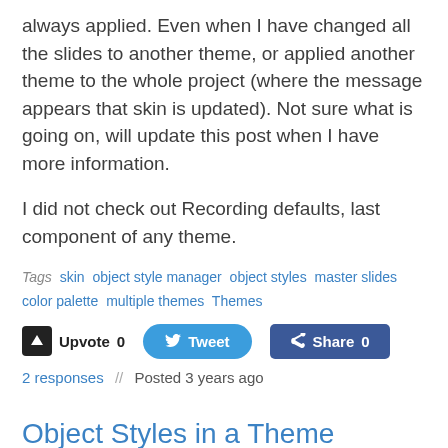always applied. Even when I have changed all the slides to another theme, or applied another theme to the whole project (where the message appears that skin is updated). Not sure what is going on, will update this post when I have more information.
I did not check out Recording defaults, last component of any theme.
Tags: skin  object style manager  object styles  master slides  color palette  multiple themes  Themes
Upvote 0   Tweet   Share 0
2 responses  //  Posted 3 years ago
Object Styles in a Theme